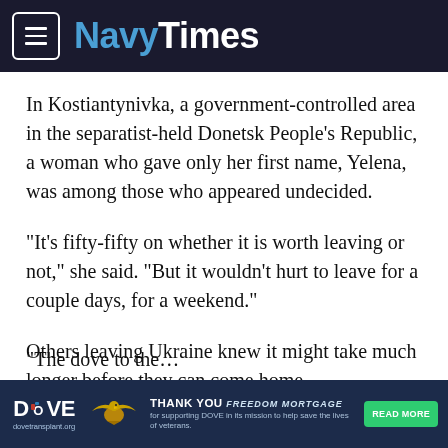NavyTimes
In Kostiantynivka, a government-controlled area in the separatist-held Donetsk People’s Republic, a woman who gave only her first name, Yelena, was among those who appeared undecided.
“It’s fifty-fifty on whether it is worth leaving or not,” she said. “But it wouldn’t hurt to leave for a couple days, for a weekend.”
Others leaving Ukraine knew it might take much longer before they can come home.
The dove…
[Figure (infographic): DOVE advertisement banner: DOVE logo on left, eagle emblem in center, THANK YOU FREEDOM MORTGAGE text, supporting veterans mission text, READ MORE green button]